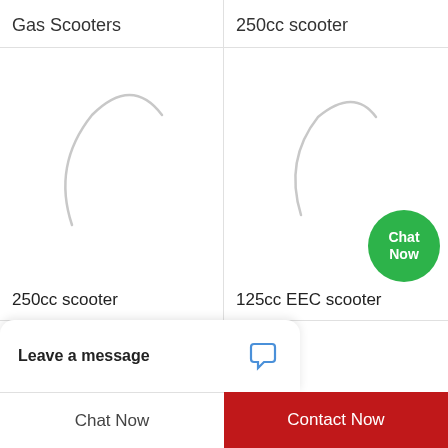Gas Scooters
250cc scooter
[Figure (illustration): Loading spinner / placeholder circle arc for product image]
250cc scooter
[Figure (illustration): Loading spinner / placeholder circle arc for product image]
125cc EEC scooter
[Figure (illustration): Green circular Chat Now button]
Leave a message
Chat Now
Contact Now